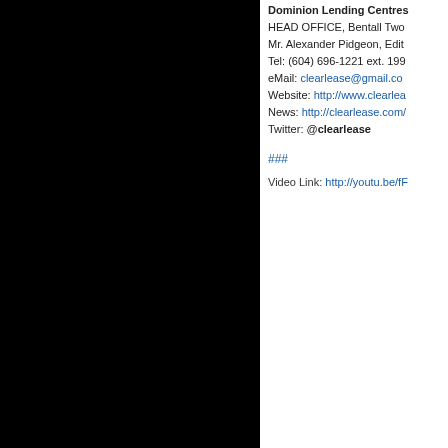[Figure (photo): Black panel occupying the left portion of the page]
Dominion Lending Centres HEAD OFFICE, Bentall Two Mr. Alexander Pidgeon, Edit Tel: (604) 696-1221 ext. 199 eMail: clearlease@gmail.co Website: http://www.clearlea News: http://clearlease.com Twitter: @clearlease ### Video Link: http://youtu.be/fF